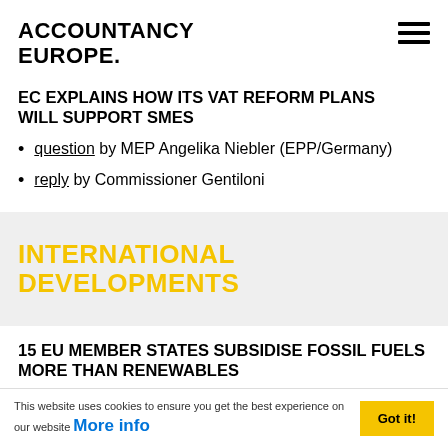ACCOUNTANCY EUROPE.
EC EXPLAINS HOW ITS VAT REFORM PLANS WILL SUPPORT SMES
question by MEP Angelika Niebler (EPP/Germany)
reply by Commissioner Gentiloni
INTERNATIONAL DEVELOPMENTS
15 EU MEMBER STATES SUBSIDISE FOSSIL FUELS MORE THAN RENEWABLES
This website uses cookies to ensure you get the best experience on our website More info   Got it!